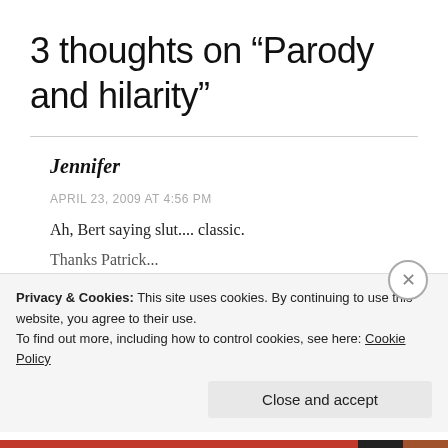3 thoughts on “Parody and hilarity”
Jennifer
APRIL 23, 2009 AT 4:56 PM
Ah, Bert saying slut.... classic.
Privacy & Cookies: This site uses cookies. By continuing to use this website, you agree to their use.
To find out more, including how to control cookies, see here: Cookie Policy
Close and accept